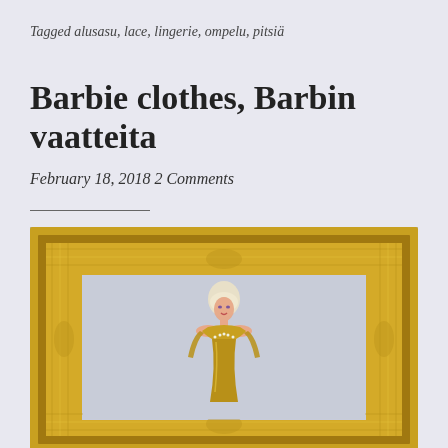Tagged alusasu, lace, lingerie, ompelu, pitsiä
Barbie clothes, Barbin vaatteita
February 18, 2018
2 Comments
[Figure (photo): A Barbie doll dressed in a gold/yellow off-shoulder gown, displayed inside an ornate gold picture frame against a light grey background.]